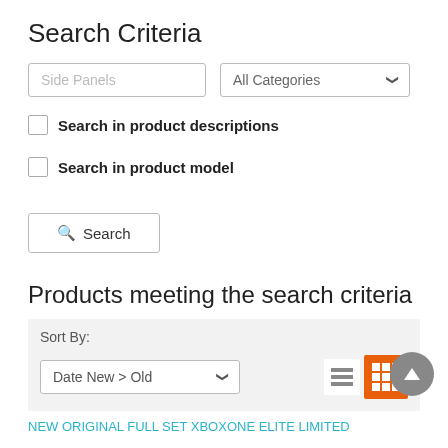Search Criteria
[Figure (screenshot): Search input field with placeholder 'Side Panels' and a dropdown select with 'All Categories' option]
Search in product descriptions
Search in product model
[Figure (screenshot): Search button with magnifying glass icon]
Products meeting the search criteria
[Figure (screenshot): Sort bar with 'Sort By:' label, 'Date New > Old' dropdown, list view button, and active grid view button in orange]
NEW ORIGINAL FULL SET XBOXONE ELITE LIMITED